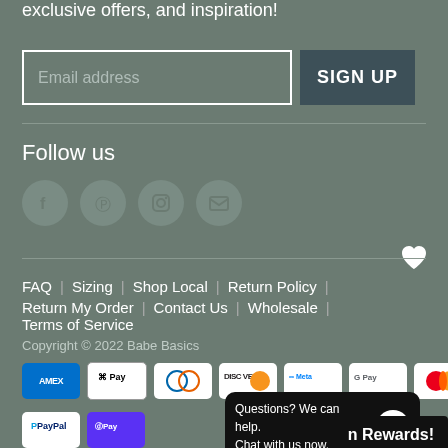exclusive offers, and inspiration!
Email address
SIGN UP
Follow us
[Figure (illustration): Social media icons: Facebook, Pinterest, Instagram, Email]
[Figure (illustration): White heart icon]
FAQ  |  Sizing  |  Shop Local  |  Return Policy  |  Return My Order  |  Contact Us  |  Wholesale  |  Terms of Service
Copyright © 2022 Babe Basics
[Figure (other): Payment method badges: AMEX, Apple Pay, Diners Club, Discover, Meta Pay, Google Pay, Mastercard, PayPal, Shop Pay]
Questions? We can help. Chat with us now.
n Rewards!